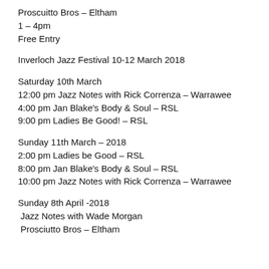Proscuitto Bros – Eltham
1 – 4pm
Free Entry
Inverloch Jazz Festival 10-12 March 2018
Saturday 10th March
12:00 pm Jazz Notes with Rick Correnza – Warrawee
4:00 pm Jan Blake's Body & Soul – RSL
9:00 pm Ladies Be Good! – RSL
Sunday 11th March – 2018
2:00 pm Ladies be Good – RSL
8:00 pm Jan Blake's Body & Soul – RSL
10:00 pm Jazz Notes with Rick Correnza – Warrawee
Sunday 8th April -2018
Jazz Notes with Wade Morgan
Prosciutto Bros – Eltham